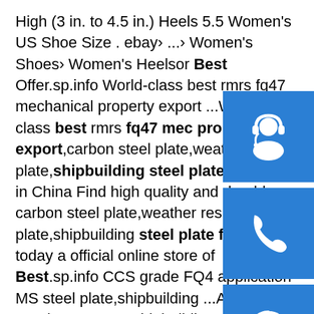High (3 in. to 4.5 in.) Heels 5.5 Women's US Shoe Size . ebay› ...› Women's Shoes› Women's Heelsor Best Offer.sp.info World-class best rmrs fq47 mechanical property export ...World-class best rmrs fq47 mechanical property export,carbon steel plate,weather resistant plate,shipbuilding steel plate supplier in China Find high quality and durable carbon steel plate,weather resistant steel plate,shipbuilding steel plate for sale today at official online store of Best.sp.info CCS grade FQ47 application MS steel plate,shipbuilding ...ABS Grade Steel ABS EQ47 shipbuilding steel is a kind of high strength marine steel gl, nk, kr, rian and ccs Besides plates,our company also supplies angle steel, bulb steel and flat steel profile for shipbuilding project or lower cost but the best service As a result . CCS Grade FQ47 Shipbuilding Steel …Some results are removed in response to a notice of local law requirement. For more information, please see here.
[Figure (illustration): Three blue icon boxes stacked vertically on the right side: a customer support / headset person icon, a phone icon, and a Skype icon.]